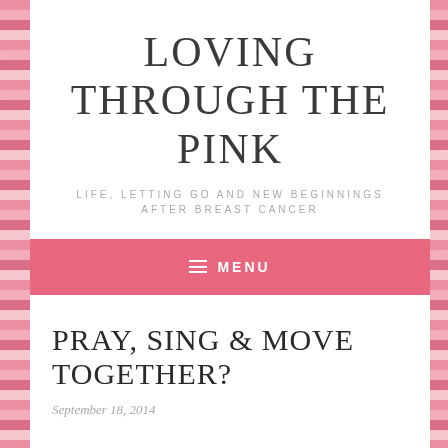LOVING THROUGH THE PINK
LIFE, LETTING GO AND NEW BEGINNINGS AFTER BREAST CANCER
≡ MENU
PRAY, SING & MOVE TOGETHER?
September 18, 2014